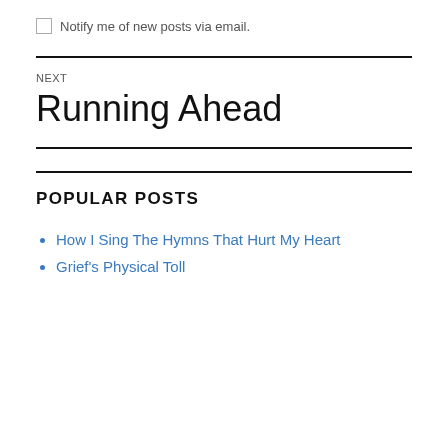Notify me of new posts via email.
NEXT
Running Ahead
POPULAR POSTS
How I Sing The Hymns That Hurt My Heart
Grief's Physical Toll